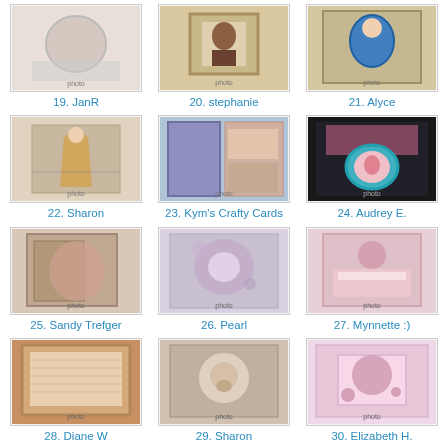[Figure (photo): Craft card thumbnail 19 JanR]
19. JanR
[Figure (photo): Craft card thumbnail 20 stephanie]
20. stephanie
[Figure (photo): Craft card thumbnail 21 Alyce]
21. Alyce
[Figure (photo): Craft card thumbnail 22 Sharon]
22. Sharon
[Figure (photo): Craft card thumbnail 23 Kym's Crafty Cards]
23. Kym's Crafty Cards
[Figure (photo): Craft card thumbnail 24 Audrey E.]
24. Audrey E.
[Figure (photo): Craft card thumbnail 25 Sandy Trefger]
25. Sandy Trefger
[Figure (photo): Craft card thumbnail 26 Pearl]
26. Pearl
[Figure (photo): Craft card thumbnail 27 Mynnette :)]
27. Mynnette :)
[Figure (photo): Craft card thumbnail 28 Diane W]
28. Diane W
[Figure (photo): Craft card thumbnail 29 Sharon]
29. Sharon
[Figure (photo): Craft card thumbnail 30 Elizabeth H.]
30. Elizabeth H.
[Figure (photo): Craft card thumbnail row 5 col 1]
[Figure (photo): Craft card thumbnail row 5 col 2]
[Figure (photo): Craft card thumbnail row 5 col 3]